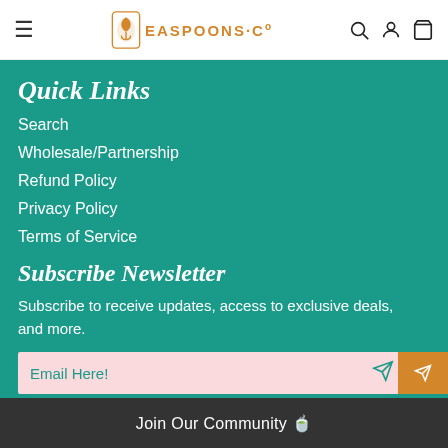SEASPOONS·CO
Quick Links
Search
Wholesale/Partnership
Refund Policy
Privacy Policy
Terms of Service
Subscribe Newsletter
Subscribe to receive updates, access to exclusive deals, and more.
Email Here!
Join Our Community 🍵